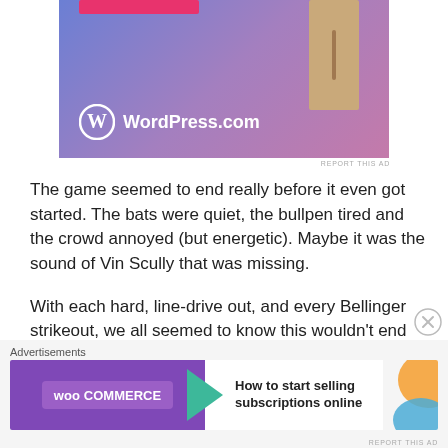[Figure (photo): WordPress.com advertisement banner with blue-purple gradient background, a pink bar at top, a wooden door on the right, and the WordPress.com logo at the bottom left]
REPORT THIS AD
The game seemed to end really before it even got started. The bats were quiet, the bullpen tired and the crowd annoyed (but energetic). Maybe it was the sound of Vin Scully that was missing.
With each hard, line-drive out, and every Bellinger strikeout, we all seemed to know this wouldn't end well.
Advertisements
[Figure (photo): WooCommerce advertisement banner with purple background and teal arrow, text reads 'How to start selling subscriptions online']